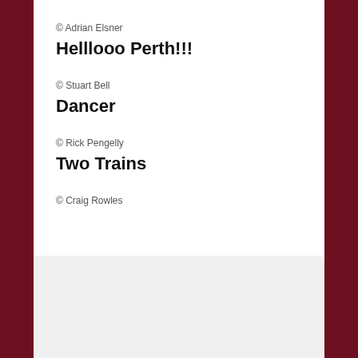© Adrian Elsner
Helllooo Perth!!!
© Stuart Bell
Dancer
© Rick Pengelly
Two Trains
© Craig Rowles
[Figure (other): Light gray rectangular box at the bottom of the page, partially visible, with rounded top corners.]